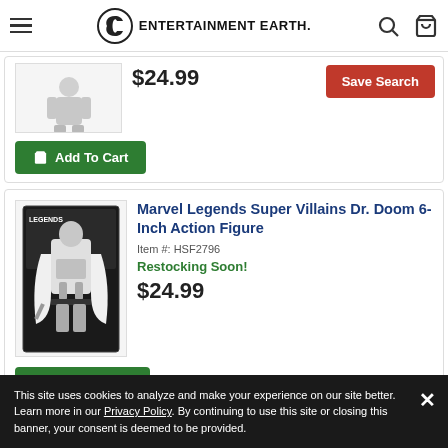Entertainment Earth
$24.99
Save Search
Add To Cart
Marvel Legends Super Villains Dr. Doom 6-Inch Action Figure
Item #: HSF2796
Restocking Soon!
$24.99
Add To Cart
Marvel Legends Super Villains [partial — next item]
This site uses cookies to analyze and make your experience on our site better. Learn more in our Privacy Policy. By continuing to use this site or closing this banner, your consent is deemed to be provided.